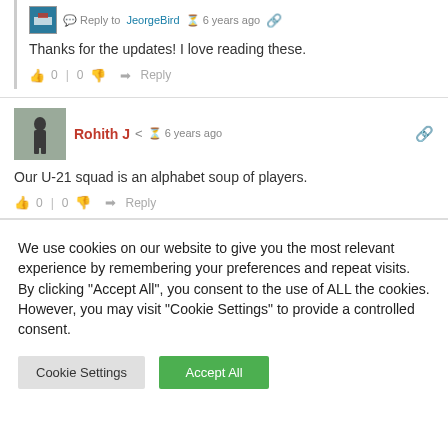Reply to JeorgeBird · 6 years ago
Thanks for the updates! I love reading these.
👍 0 | 0 👎 → Reply
Rohith J · 6 years ago
Our U-21 squad is an alphabet soup of players.
👍 0 | 0 👎 → Reply
We use cookies on our website to give you the most relevant experience by remembering your preferences and repeat visits. By clicking "Accept All", you consent to the use of ALL the cookies. However, you may visit "Cookie Settings" to provide a controlled consent.
Cookie Settings
Accept All